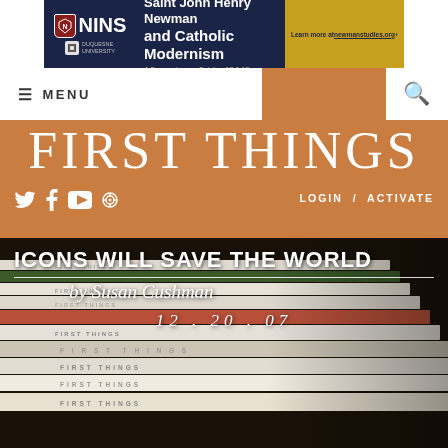[Figure (screenshot): NINS / Duquesne University advertisement banner for Saint John Henry Newman and Catholic Modernism symposium on October 17 & 18, with link to newmanstudies.org]
≡ MENU
FIRST THINGS
LOGIN / ACTIVATE
[Figure (photo): Stack of First Things magazines photographed from front, slightly blurred background]
ICONS WILL SAVE THE WORLD
by Susan Cushman
12 . 20 . 07